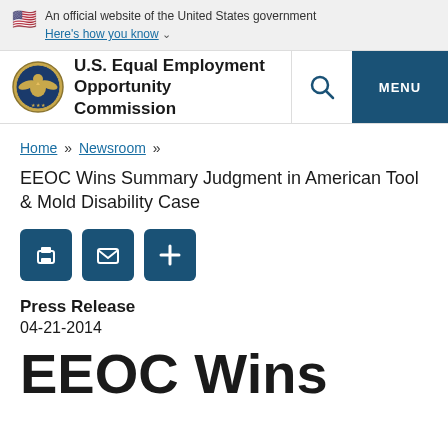An official website of the United States government
Here's how you know
U.S. Equal Employment Opportunity Commission
Home » Newsroom »
EEOC Wins Summary Judgment in American Tool & Mold Disability Case
Press Release
04-21-2014
EEOC Wins